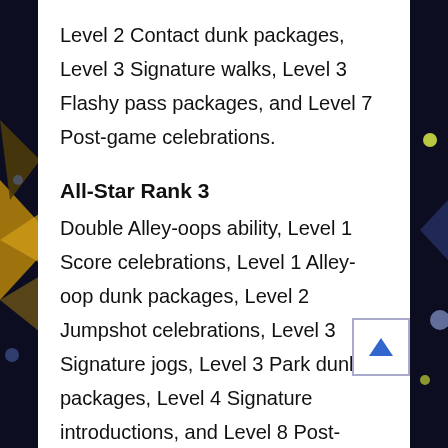Level 2 Contact dunk packages, Level 3 Signature walks, Level 3 Flashy pass packages, and Level 7 Post-game celebrations.
All-Star Rank 3
Double Alley-oops ability, Level 1 Score celebrations, Level 1 Alley-oop dunk packages, Level 2 Jumpshot celebrations, Level 3 Signature jogs, Level 3 Park dunk packages, Level 4 Signature introductions, and Level 8 Post-game celebrations.